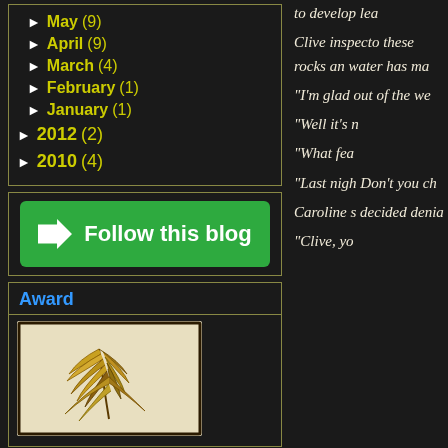► May (9)
► April (9)
► March (4)
► February (1)
► January (1)
► 2012 (2)
► 2010 (4)
[Figure (other): Green 'Follow this blog' button with arrow icon]
Award
[Figure (illustration): Decorative award illustration with feather/leaf ornamental design on cream background with dark border]
to develop lea
Clive inspecto these rocks an water has ma
“I’m glad  out of the we
“Well it’s n
“What fea
“Last nigh Don’t you ch
Caroline s decided denia
“Clive, yo